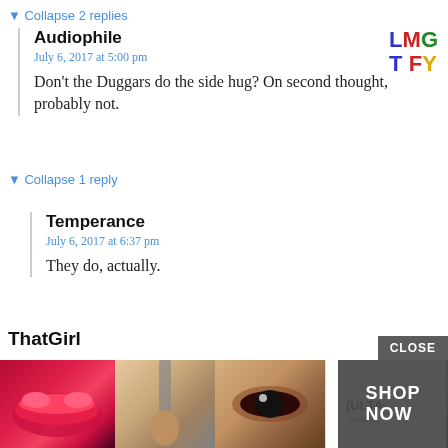▼ Collapse 2 replies
Audiophile
July 6, 2017 at 5:00 pm
Don't the Duggars do the side hug? On second thought, probably not.
▼ Collapse 1 reply
Temperance
July 6, 2017 at 6:37 pm
They do, actually.
ThatGirl
July 6, 2017 at 1:59 pm
C...ould n...alled B...
[Figure (screenshot): LMGTFY logo in top-right corner with colored letters L(blue)M(red)G(green)T(blue)F(red)Y(yellow)]
[Figure (screenshot): Ad bar at bottom with beauty/makeup images from Ulta, CLOSE button, and SHOP NOW button]